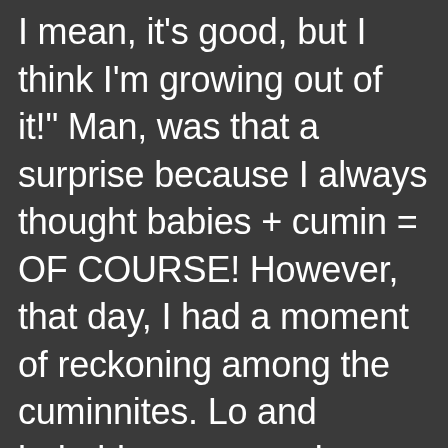I mean, it's good, but I think I'm growing out of it!" Man, was that a surprise because I always thought babies + cumin = OF COURSE! However, that day, I had a moment of reckoning among the cuminnites. Lo and behold, seven weeks later, I was at a local restaurant called "Low and Bee Held" (It's a restaurant that's underground and